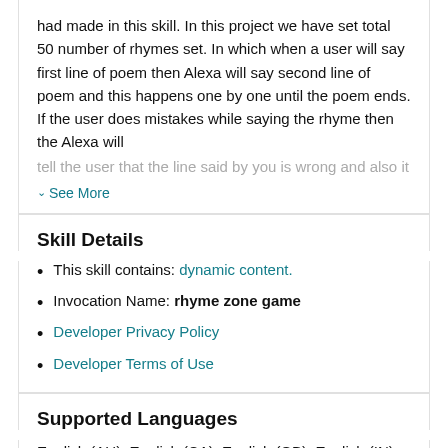had made in this skill. In this project we have set total 50 number of rhymes set. In which when a user will say first line of poem then Alexa will say second line of poem and this happens one by one until the poem ends. If the user does mistakes while saying the rhyme then the Alexa will tell the user that the line said by you is wrong and also it
∨ See More
Skill Details
This skill contains: dynamic content.
Invocation Name: rhyme zone game
Developer Privacy Policy
Developer Terms of Use
Supported Languages
English (AU), English (CA), English (GB), English (IN), English (US)
Customers have also enabled